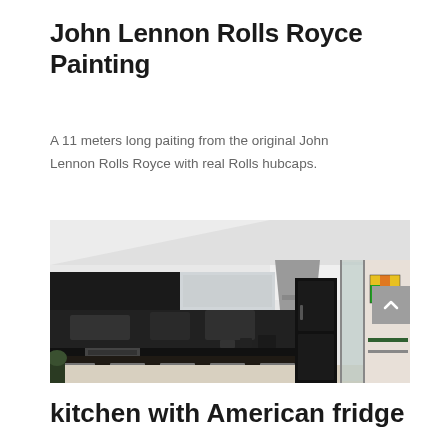John Lennon Rolls Royce Painting
A 11 meters long paiting from the original John Lennon Rolls Royce with real Rolls hubcaps.
[Figure (photo): Interior photo of a modern kitchen with dark cabinetry, black appliances including an American-style fridge, stainless steel range hood, and a view into an adjacent room with colorful artwork on the wall.]
kitchen with American fridge